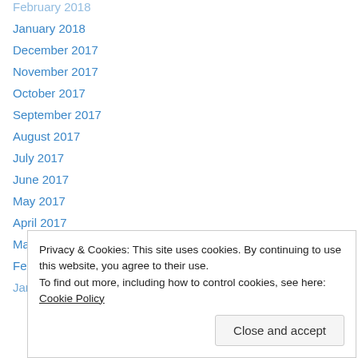February 2018
January 2018
December 2017
November 2017
October 2017
September 2017
August 2017
July 2017
June 2017
May 2017
April 2017
March 2017
February 2017
January 2017
July 2016
Privacy & Cookies: This site uses cookies. By continuing to use this website, you agree to their use.
To find out more, including how to control cookies, see here: Cookie Policy
Close and accept